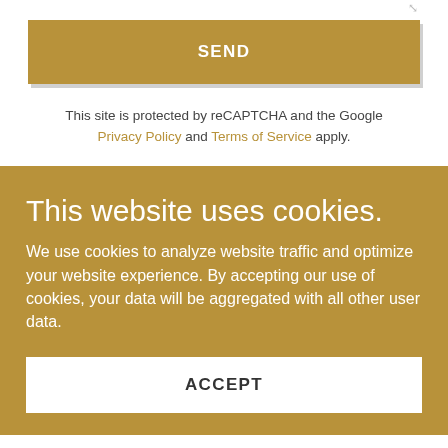SEND
This site is protected by reCAPTCHA and the Google Privacy Policy and Terms of Service apply.
This website uses cookies.
We use cookies to analyze website traffic and optimize your website experience. By accepting our use of cookies, your data will be aggregated with all other user data.
ACCEPT